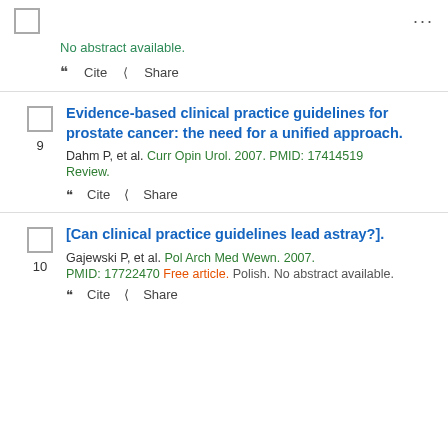...
No abstract available.
Cite  Share
Evidence-based clinical practice guidelines for prostate cancer: the need for a unified approach.
Dahm P, et al. Curr Opin Urol. 2007. PMID: 17414519
Review.
Cite  Share
[Can clinical practice guidelines lead astray?].
Gajewski P, et al. Pol Arch Med Wewn. 2007. PMID: 17722470 Free article. Polish. No abstract available.
Cite  Share